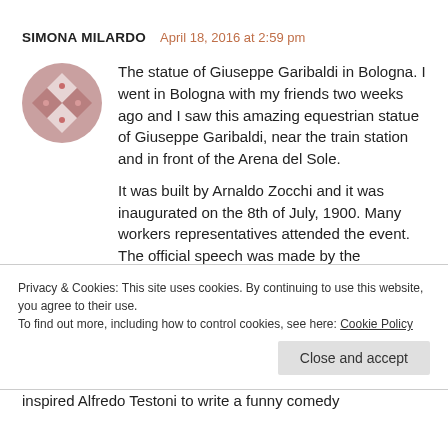SIMONA MILARDO   April 18, 2016 at 2:59 pm
The statue of Giuseppe Garibaldi in Bologna. I went in Bologna with my friends two weeks ago and I saw this amazing equestrian statue of Giuseppe Garibaldi, near the train station and in front of the Arena del Sole.
It was built by Arnaldo Zocchi and it was inaugurated on the 8th of July, 1900. Many workers representatives attended the event. The official speech was made by the professor
Privacy & Cookies: This site uses cookies. By continuing to use this website, you agree to their use.
To find out more, including how to control cookies, see here: Cookie Policy
Close and accept
inspired Alfredo Testoni to write a funny comedy